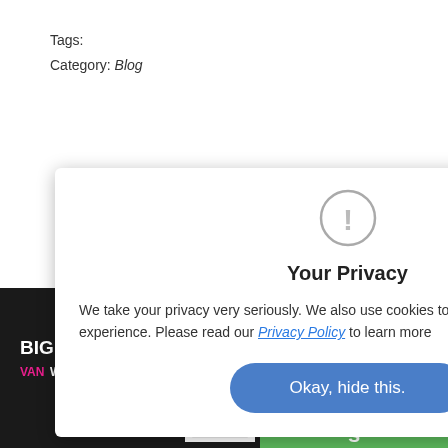Tags:
Category: Blog
[Figure (screenshot): Green NEXT button with right arrow]
[Figure (screenshot): Green partially-visible button with letter s]
[Figure (infographic): Your Privacy modal dialog with exclamation icon, privacy text, Privacy Policy link, and Okay hide this button]
[Figure (logo): Big Van World logo in dark footer]
[Figure (logo): MotoNovo Finance logo in dark footer]
[Figure (logo): Dealer Promise badge: You're in safe hands]
[Figure (logo): HPI logo in dark footer]